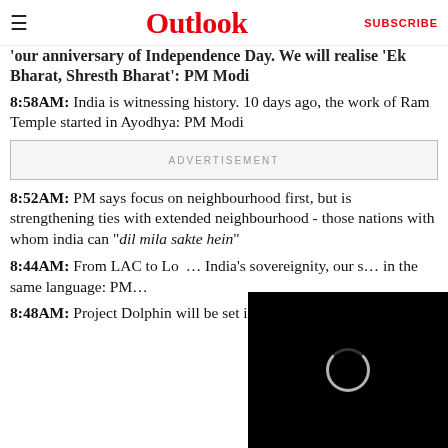Outlook  SUBSCRIBE
'our anniversary of Independence Day. We will realise 'Ek Bharat, Shresth Bharat': PM Modi
8:58AM: India is witnessing history. 10 days ago, the work of Ram Temple started in Ayodhya: PM Modi
ADVERTISEMENT
8:52AM: PM says focus on neighbourhood first, but is strengthening ties with extended neighbourhood - those nations with whom india can "dil mila sakte hein"
8:44AM: From LAC to Lo... India's sovereignity, our s... in the same language: PM...
8:48AM: Project Dolphin will be set in motion...
[Figure (screenshot): Black video player overlay with circular loading spinner, partially covering the lower-right portion of the page]